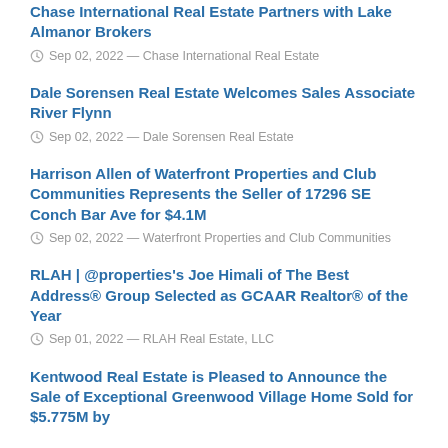Chase International Real Estate Partners with Lake Almanor Brokers
Sep 02, 2022 — Chase International Real Estate
Dale Sorensen Real Estate Welcomes Sales Associate River Flynn
Sep 02, 2022 — Dale Sorensen Real Estate
Harrison Allen of Waterfront Properties and Club Communities Represents the Seller of 17296 SE Conch Bar Ave for $4.1M
Sep 02, 2022 — Waterfront Properties and Club Communities
RLAH | @properties's Joe Himali of The Best Address® Group Selected as GCAAR Realtor® of the Year
Sep 01, 2022 — RLAH Real Estate, LLC
Kentwood Real Estate is Pleased to Announce the Sale of Exceptional Greenwood Village Home Sold for $5.775M by